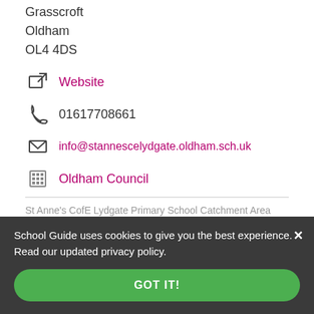Grasscroft
Oldham
OL4 4DS
Website
01617708661
info@stannescelydgate.oldham.sch.uk
Oldham Council
St Anne's CofE Lydgate Primary School Catchment Area
Can I Get My Child Into This
School Guide uses cookies to give you the best experience. Read our updated privacy policy.
GOT IT!